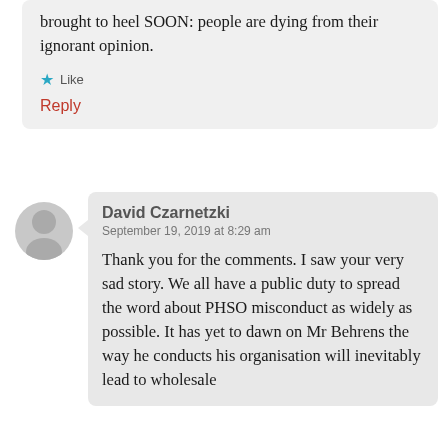brought to heel SOON: people are dying from their ignorant opinion.
★ Like
Reply
[Figure (illustration): Gray circular avatar placeholder icon for user David Czarnetzki]
David Czarnetzki
September 19, 2019 at 8:29 am
Thank you for the comments. I saw your very sad story. We all have a public duty to spread the word about PHSO misconduct as widely as possible. It has yet to dawn on Mr Behrens the way he conducts his organisation will inevitably lead to wholesale